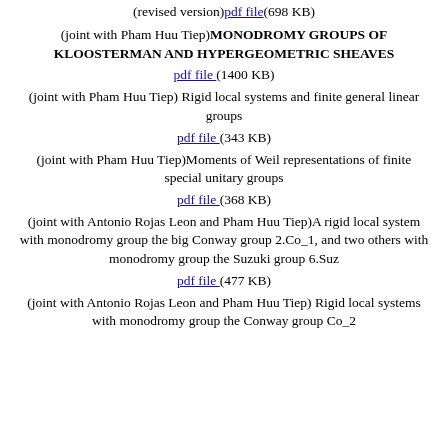(revised version)pdf file(698 KB)
(joint with Pham Huu Tiep)MONODROMY GROUPS OF KLOOSTERMAN AND HYPERGEOMETRIC SHEAVES
pdf file (1400 KB)
(joint with Pham Huu Tiep) Rigid local systems and finite general linear groups
pdf file (343 KB)
(joint with Pham Huu Tiep)Moments of Weil representations of finite special unitary groups
pdf file (368 KB)
(joint with Antonio Rojas Leon and Pham Huu Tiep)A rigid local system with monodromy group the big Conway group 2.Co_1, and two others with monodromy group the Suzuki group 6.Suz
pdf file (477 KB)
(joint with Antonio Rojas Leon and Pham Huu Tiep) Rigid local systems with monodromy group the Conway group Co_2